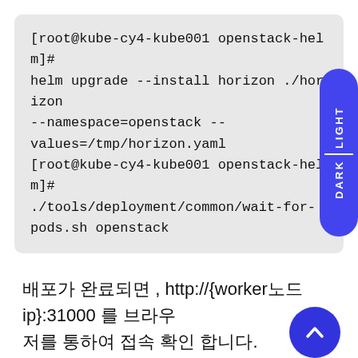[root@kube-cy4-kube001 openstack-helm]# helm upgrade --install horizon ./horizon --namespace=openstack --values=/tmp/horizon.yaml [root@kube-cy4-kube001 openstack-helm]# ./tools/deployment/common/wait-for-pods.sh openstack
배포가 완료되면 , http://{worker노드 ip}:31000 를 브라우저를 통하여 접속 확인 합니다.
앞서 생성한 인스턴스를 확인할 수 있습니다.